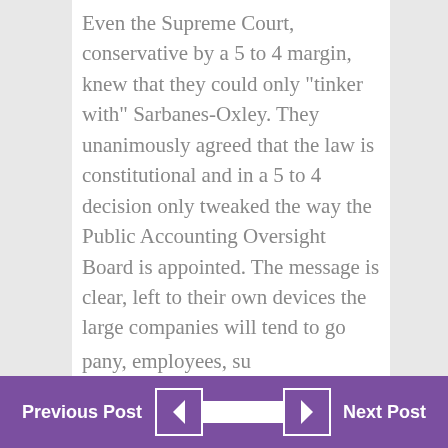Even the Supreme Court, conservative by a 5 to 4 margin, knew that they could only “tinker with” Sarbanes-Oxley. They unanimously agreed that the law is constitutional and in a 5 to 4 decision only tweaked the way the Public Accounting Oversight Board is appointed. The message is clear, left to their own devices the large companies will tend to go astray. My opinion is that is because they pay more attention to the stock price than they do to sticking to building a business. They worry about the Wall Street bankers and exchanges instead of the real stakeholders in the company, employees, su…
Previous Post ◄ ► Next Post